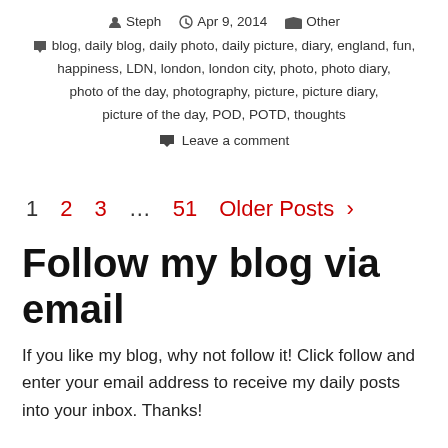Steph  Apr 9, 2014  Other
blog, daily blog, daily photo, daily picture, diary, england, fun, happiness, LDN, london, london city, photo, photo diary, photo of the day, photography, picture, picture diary, picture of the day, POD, POTD, thoughts
Leave a comment
1  2  3  …  51  Older Posts >
Follow my blog via email
If you like my blog, why not follow it! Click follow and enter your email address to receive my daily posts into your inbox. Thanks!